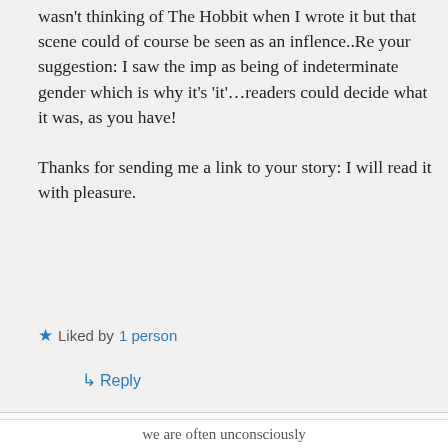wasn't thinking of The Hobbit when I wrote it but that scene could of course be seen as an inflence..Re your suggestion: I saw the imp as being of indeterminate gender which is why it's 'it'…readers could decide what it was, as you have! Thanks for sending me a link to your story: I will read it with pleasure.
★ Liked by 1 person
↳ Reply
Privacy & Cookies: This site uses cookies. By continuing to use this website, you agree to their use.
To find out more, including how to control cookies, see here: Cookie Policy
Close and accept
we are often unconsciously